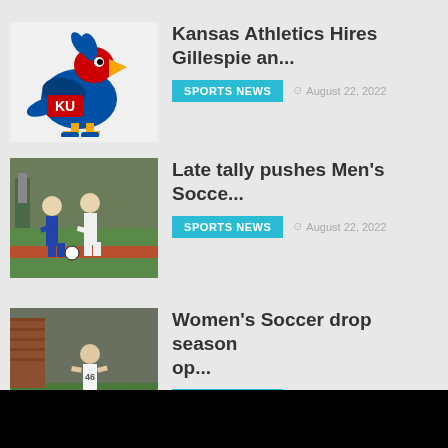[Figure (logo): Kansas University Jayhawk mascot logo with KU letters]
Kansas Athletics Hires Gillespie an...
SPORTS NEWS  August 22, 2022
[Figure (photo): Men's soccer players on field during game]
Late tally pushes Men's Socce...
SPORTS NEWS  August 22, 2022
[Figure (photo): Women's soccer player in white uniform on field]
Women's Soccer drop season op...
SPORTS NEWS  August 22, 2022